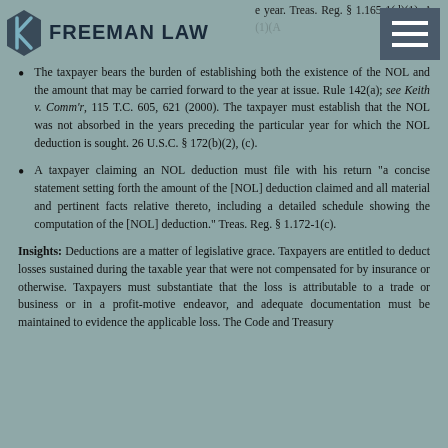fixed by identifiable events occurring in such taxable year. Treas. Reg. § 1.165-1(d)(1). An NOL generally must be carried back 2 years (section 172(b)(1)(A…
The taxpayer bears the burden of establishing both the existence of the NOL and the amount that may be carried forward to the year at issue. Rule 142(a); see Keith v. Comm'r, 115 T.C. 605, 621 (2000). The taxpayer must establish that the NOL was not absorbed in the years preceding the particular year for which the NOL deduction is sought. 26 U.S.C. § 172(b)(2), (c).
A taxpayer claiming an NOL deduction must file with his return "a concise statement setting forth the amount of the [NOL] deduction claimed and all material and pertinent facts relative thereto, including a detailed schedule showing the computation of the [NOL] deduction." Treas. Reg. § 1.172-1(c).
Insights: Deductions are a matter of legislative grace. Taxpayers are entitled to deduct losses sustained during the taxable year that were not compensated for by insurance or otherwise. Taxpayers must substantiate that the loss is attributable to a trade or business or in a profit-motive endeavor, and adequate documentation must be maintained to evidence the applicable loss. The Code and Treasury